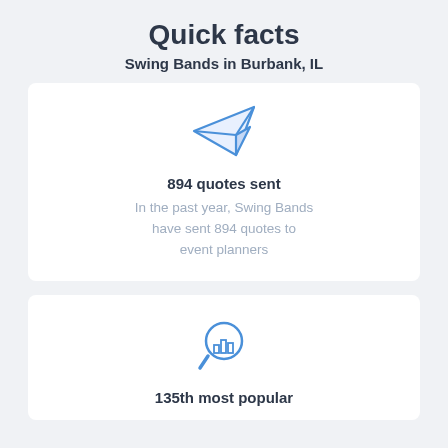Quick facts
Swing Bands in Burbank, IL
894 quotes sent
In the past year, Swing Bands have sent 894 quotes to event planners
135th most popular